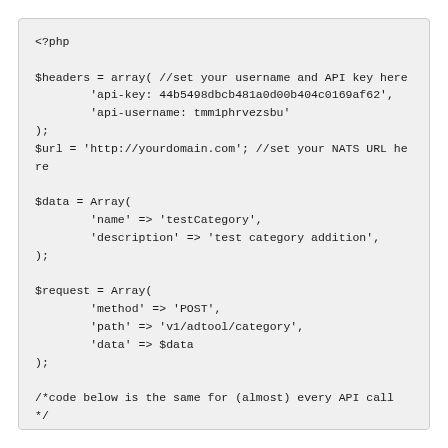<?php

$headers = array( //set your username and API key here
        'api-key: 44b5498dbcb481a0d00b404c0169af62',
        'api-username: tmm1phrvezsbu'
);
$url = 'http://yourdomain.com'; //set your NATS URL here

$data = Array(
        'name' => 'testCategory',
        'description' => 'test category addition',
);

$request = Array(
        'method' => 'POST',
        'path' => 'v1/adtool/category',
        'data' => $data
);

/*code below is the same for (almost) every API call */

$curl = curl_init();

$url = $url.'/api/'.$request['path'];

$query = http_build_query($request['data']);